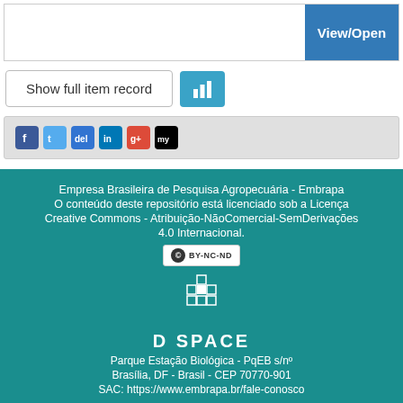[Figure (screenshot): Partial view of a document thumbnail and a blue 'View/Open' button on the right]
Show full item record
[Figure (screenshot): Social sharing icons bar including Facebook, Twitter, Delicious, LinkedIn, Google+, and MySpace icons]
Empresa Brasileira de Pesquisa Agropecuária - Embrapa
O conteúdo deste repositório está licenciado sob a Licença Creative Commons - Atribuição-NãoComercial-SemDerivações 4.0 Internacional.
[Figure (logo): Creative Commons BY-NC-ND license badge]
[Figure (logo): DSpace logo with pixel-art QR-style icon]
D SPACE
Parque Estação Biológica - PqEB s/nº
Brasília, DF - Brasil - CEP 70770-901
SAC: https://www.embrapa.br/fale-conosco